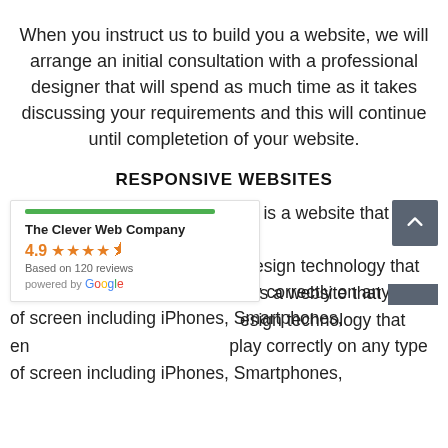When you instruct us to build you a website, we will arrange an initial consultation with a professional designer that will spend as much time as it takes discussing your requirements and this will continue until completetion of your website.
RESPONSIVE WEBSITES
[Figure (other): Google review widget showing The Clever Web Company with 4.9 rating, 4.5 stars, Based on 120 reviews, powered by Google. Green bar at top.]
te is a website that has esign technology that en play correctly on any type of screen including iPhones, Smartphones,